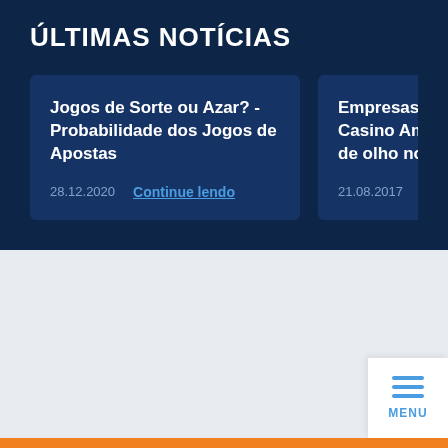ÚLTIMAS NOTÍCIAS
Jogos de Sorte ou Azar? - Probabilidade dos Jogos de Apostas
28.12.2020  Continue lendo
Empresas de Casino Americanas de olho no Brasil
21.08.2017  Continu...
[Figure (other): Menu button with three horizontal lines and label MENU]
JOGUE POR DINHEIRO REAL